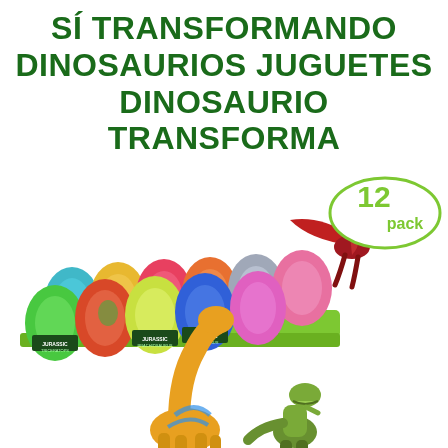SÍ TRANSFORMANDO DINOSAURIOS JUGUETES DINOSAURIO TRANSFORMA
[Figure (photo): Product photo showing 12-pack of colorful Jurassic dinosaur eggs in a green tray with dinosaur toy figures including a brachiosaurus, T-rex, and flying pterosaur in red, displayed alongside the egg packaging. A '12 pack' badge is shown in an oval.]